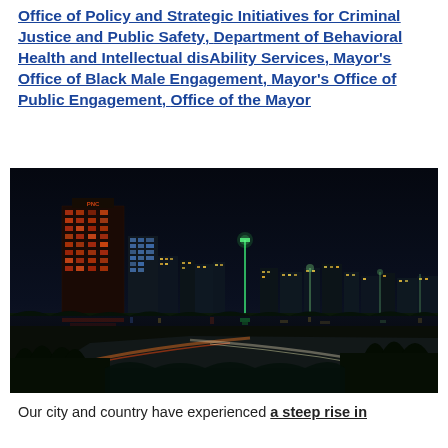Office of Policy and Strategic Initiatives for Criminal Justice and Public Safety, Department of Behavioral Health and Intellectual disAbility Services, Mayor's Office of Black Male Engagement, Mayor's Office of Public Engagement, Office of the Mayor
[Figure (photo): Nighttime city skyline with illuminated skyscrapers reflected in a river, highway light trails visible in the foreground]
Our city and country have experienced a steep rise in